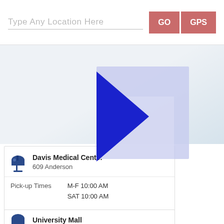[Figure (screenshot): Search bar with text input 'Type Any Location Here' and two buttons: GO and GPS (salmon/pink color)]
[Figure (map): Map area showing a light blue-grey map background with a blue right-pointing arrow/chevron popup overlay indicating a selected mailbox location]
Davis Medical Center
609 Anderson
Pick-up Times   M-F 10:00 AM
                SAT 10:00 AM
95616
University Mall